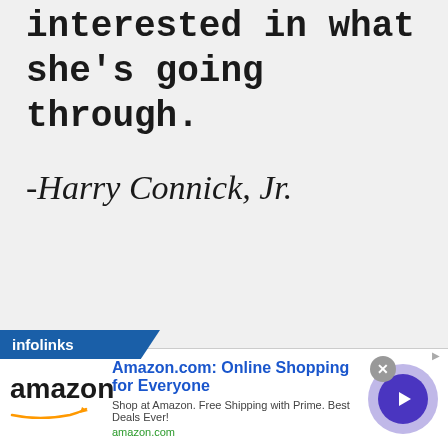interested in what she's going through.
-Harry Connick, Jr.
[Figure (other): Infolinks advertisement banner for Amazon.com: Online Shopping for Everyone. Shop at Amazon. Free Shipping with Prime. Best Deals Ever! amazon.com]